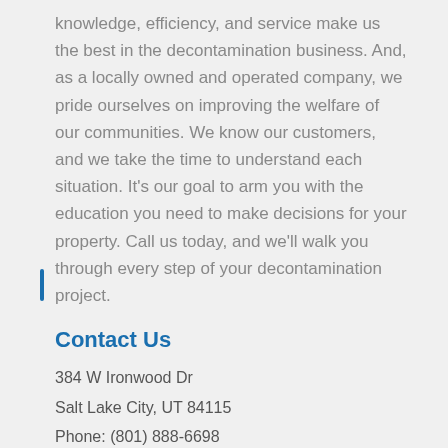knowledge, efficiency, and service make us the best in the decontamination business. And, as a locally owned and operated company, we pride ourselves on improving the welfare of our communities. We know our customers, and we take the time to understand each situation. It's our goal to arm you with the education you need to make decisions for your property. Call us today, and we'll walk you through every step of your decontamination project.
Contact Us
384 W Ironwood Dr
Salt Lake City, UT 84115
Phone: (801) 888-6698
Email: info@aeidecon.com
Open: Monday-Saturday 8am-6pm